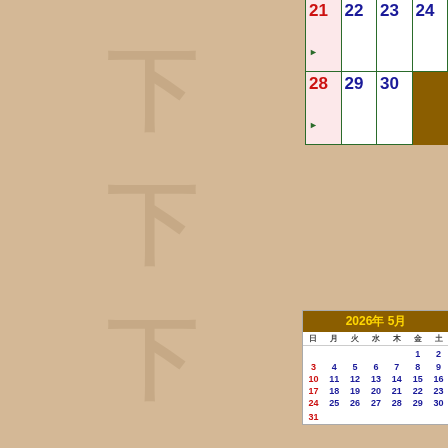[Figure (other): Calendar page showing April 2026 dates (14-30) in a grid with Sunday highlighted in pink. Left side has tan/beige background with faint Japanese character watermarks. Bottom right shows a mini May 2026 calendar with brown header.]